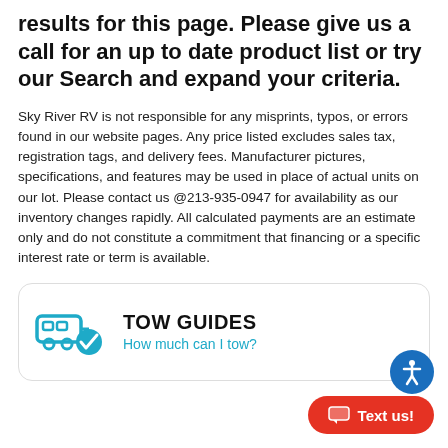results for this page. Please give us a call for an up to date product list or try our Search and expand your criteria.
Sky River RV is not responsible for any misprints, typos, or errors found in our website pages. Any price listed excludes sales tax, registration tags, and delivery fees. Manufacturer pictures, specifications, and features may be used in place of actual units on our lot. Please contact us @213-935-0947 for availability as our inventory changes rapidly. All calculated payments are an estimate only and do not constitute a commitment that financing or a specific interest rate or term is available.
[Figure (other): TOW GUIDES box with a tow vehicle and checkmark icon, title 'TOW GUIDES', subtitle 'How much can I tow?']